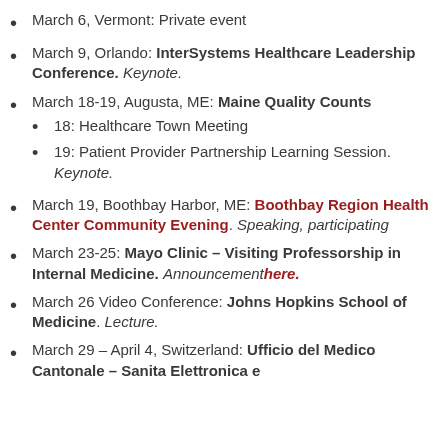March 6, Vermont: Private event
March 9, Orlando: InterSystems Healthcare Leadership Conference. Keynote.
March 18-19, Augusta, ME: Maine Quality Counts
  18: Healthcare Town Meeting
  19: Patient Provider Partnership Learning Session. Keynote.
March 19, Boothbay Harbor, ME: Boothbay Region Health Center Community Evening. Speaking, participating
March 23-25: Mayo Clinic – Visiting Professorship in Internal Medicine. Announcementhere.
March 26 Video Conference: Johns Hopkins School of Medicine. Lecture.
March 29 – April 4, Switzerland: Ufficio del Medico Cantonale – Sanita Elettronica e